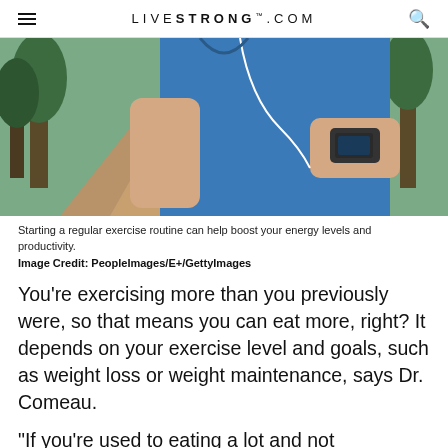LIVESTRONG.COM
[Figure (photo): A person in a blue t-shirt checking a smartwatch outdoors on a path, with earbuds in.]
Starting a regular exercise routine can help boost your energy levels and productivity.
Image Credit: PeopleImages/E+/GettyImages
You're exercising more than you previously were, so that means you can eat more, right? It depends on your exercise level and goals, such as weight loss or weight maintenance, says Dr. Comeau.
"If you're used to eating a lot and not exercising, you